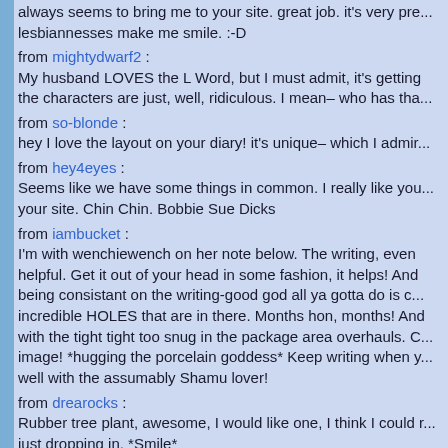always seems to bring me to your site. great job. it's very pre... lesbiannesses make me smile. :-D
from mightydwarf2 : My husband LOVES the L Word, but I must admit, it's getting the characters are just, well, ridiculous. I mean– who has tha...
from so-blonde : hey I love the layout on your diary! it's unique– which I admir...
from hey4eyes : Seems like we have some things in common. I really like you... your site. Chin Chin. Bobbie Sue Dicks
from iambucket : I'm with wenchiewench on her note below. The writing, even helpful. Get it out of your head in some fashion, it helps! And being consistant on the writing-good god all ya gotta do is c... incredible HOLES that are in there. Months hon, months! And with the tight tight too snug in the package area overhauls. C... image! *hugging the porcelain goddess* Keep writing when y... well with the assumably Shamu lover!
from drearocks : Rubber tree plant, awesome, I would like one, I think I could r... just dropping in. *Smile*
from wench77 : hmmm, I'm finding it harder to write in my diary too. I think th... therapist every day is a good thing. When I broke up with ob...